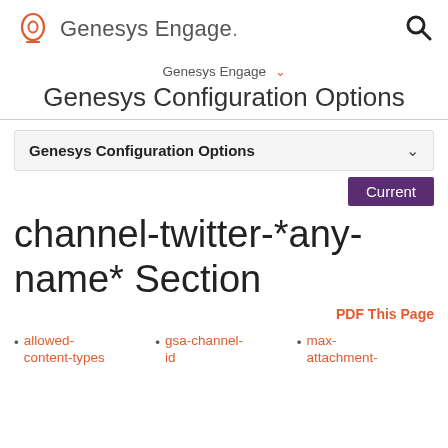Genesys Engage [logo] [search icon]
Genesys Engage ▾
Genesys Configuration Options
Genesys Configuration Options ˅
Current
channel-twitter-*any-name* Section
PDF This Page
allowed-content-types
gsa-channel-id
max-attachment-